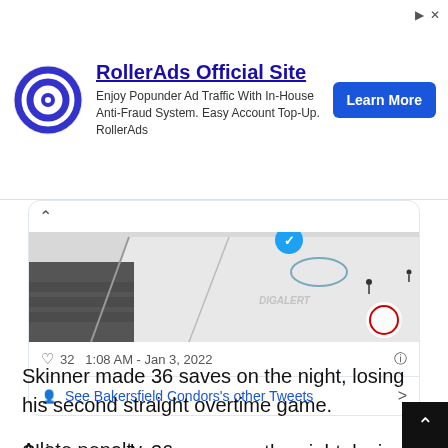[Figure (screenshot): RollerAds advertisement banner with circular logo, title 'RollerAds Official Site', ad copy, and a blue 'Learn More' button]
[Figure (screenshot): Embedded tweet from Bakersfield Condors showing an aerial photo of a hockey rink with players on ice, tweet metadata showing 32 likes, timestamp 1:08 AM - Jan 3, 2022, and a 'See Bakersfield Condors's other Tweets' link]
Skinner made 36 saves on the night, losing his second straight overtime game.
A late penalty to Vincent Desharnais gave Ontario a power-play with 2:47 to play. Just as the Reign pulled Sparks for the extra attacker,